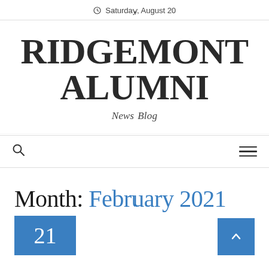Saturday, August 20
RIDGEMONT ALUMNI
News Blog
Month: February 2021